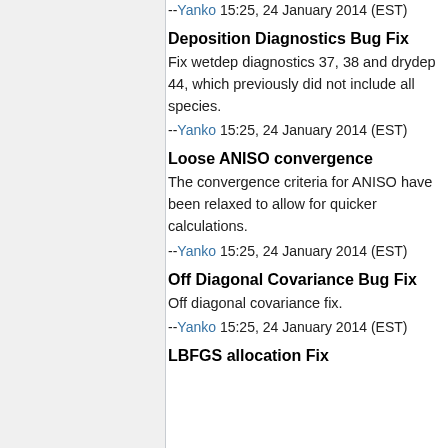--Yanko 15:25, 24 January 2014 (EST)
Deposition Diagnostics Bug Fix
Fix wetdep diagnostics 37, 38 and drydep 44, which previously did not include all species.
--Yanko 15:25, 24 January 2014 (EST)
Loose ANISO convergence
The convergence criteria for ANISO have been relaxed to allow for quicker calculations.
--Yanko 15:25, 24 January 2014 (EST)
Off Diagonal Covariance Bug Fix
Off diagonal covariance fix.
--Yanko 15:25, 24 January 2014 (EST)
LBFGS allocation Fix